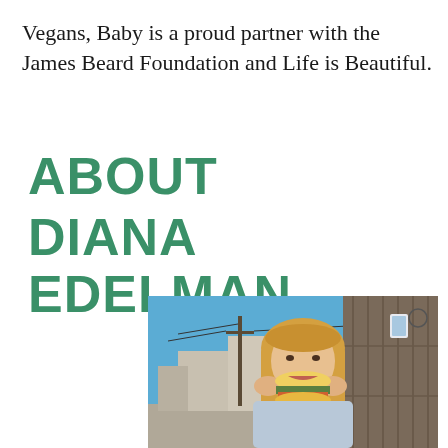Vegans, Baby is a proud partner with the James Beard Foundation and Life is Beautiful.
ABOUT DIANA EDELMAN
[Figure (photo): A woman with blonde bangs eating a burger/sandwich outdoors near a wooden fence, with a street and utility pole visible in the background under a blue sky.]